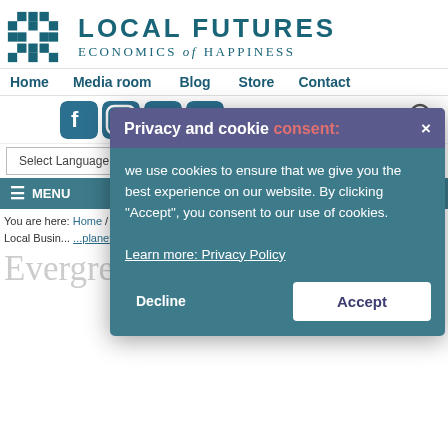[Figure (logo): Local Futures - Economics of Happiness logo with teal geometric icon and text]
Home   Media room   Blog   Store   Contact
[Figure (infographic): Social media icons: Facebook, Instagram, Twitter, YouTube; search icon on right]
Select Language   Donate
≡ MENU
You are here: Home / Our Projects / Global to Local / Planet Local / Local Business... Planet Local Initiatives
Evergreen Cooperative Initiative
[Figure (screenshot): Privacy and cookie consent modal overlay with text: 'we use cookies to ensure that we give you the best experience on our website. By clicking "Accept", you consent to our use of cookies. Learn more: Privacy Policy' and Decline/Accept buttons]